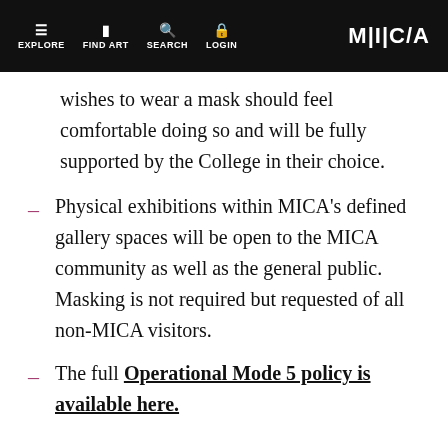EXPLORE | FIND ART | SEARCH | LOGIN | M|C/A
wishes to wear a mask should feel comfortable doing so and will be fully supported by the College in their choice.
Physical exhibitions within MICA's defined gallery spaces will be open to the MICA community as well as the general public. Masking is not required but requested of all non-MICA visitors.
The full Operational Mode 5 policy is available here.